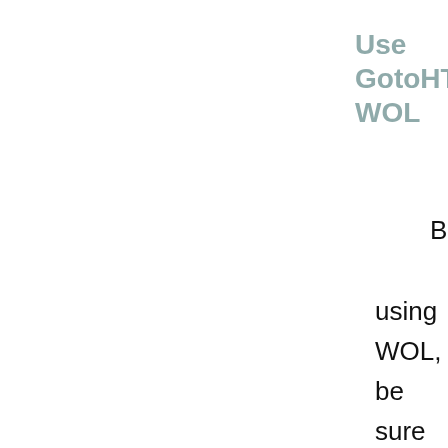Use GotoHTTP WOL
Be using WOL, be sure to enable WOL on remote computer first, and setup a